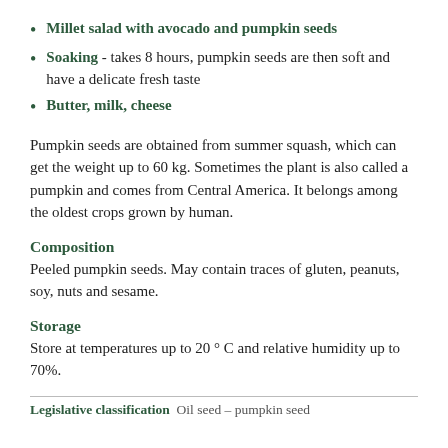Millet salad with avocado and pumpkin seeds
Soaking - takes 8 hours, pumpkin seeds are then soft and have a delicate fresh taste
Butter, milk, cheese
Pumpkin seeds are obtained from summer squash, which can get the weight up to 60 kg. Sometimes the plant is also called a pumpkin and comes from Central America. It belongs among the oldest crops grown by human.
Composition
Peeled pumpkin seeds. May contain traces of gluten, peanuts, soy, nuts and sesame.
Storage
Store at temperatures up to 20 ° C and relative humidity up to 70%.
Legislative classification  Oil seed – pumpkin seed